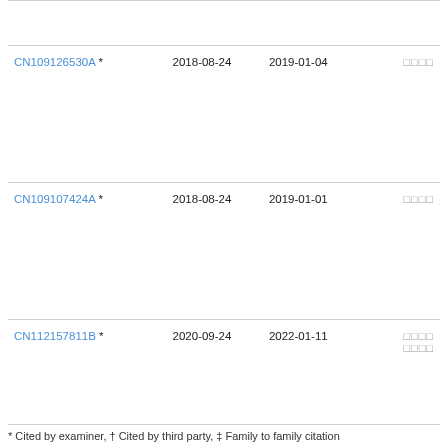| Publication | Filing Date | Publication Date | Codes |
| --- | --- | --- | --- |
| CN109126530A * | 2018-08-24 | 2019-01-04 | □□□□ |
| CN109107424A * | 2018-08-24 | 2019-01-01 | □□□□ |
| CN112157811B * | 2020-09-24 | 2022-01-11 | □□□□ □□□□ |
* Cited by examiner, † Cited by third party, ‡ Family to family citation